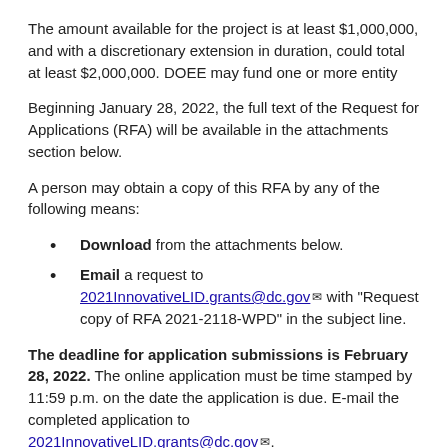The amount available for the project is at least $1,000,000, and with a discretionary extension in duration, could total at least $2,000,000. DOEE may fund one or more entity
Beginning January 28, 2022, the full text of the Request for Applications (RFA) will be available in the attachments section below.
A person may obtain a copy of this RFA by any of the following means:
Download from the attachments below.
Email a request to 2021InnovativeLID.grants@dc.gov with “Request copy of RFA 2021-2118-WPD” in the subject line.
The deadline for application submissions is February 28, 2022. The online application must be time stamped by 11:59 p.m. on the date the application is due. E-mail the completed application to 2021InnovativeLID.grants@dc.gov.
Eligibility: All the checked institutions below may apply for this